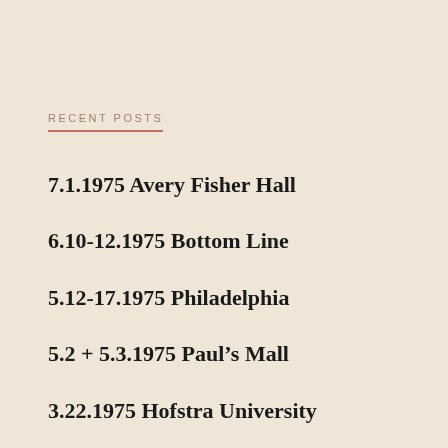RECENT POSTS
7.1.1975 Avery Fisher Hall
6.10-12.1975 Bottom Line
5.12-17.1975 Philadelphia
5.2 + 5.3.1975 Paul’s Mall
3.22.1975 Hofstra University
2.7 + 2.8.1975 Tokyo